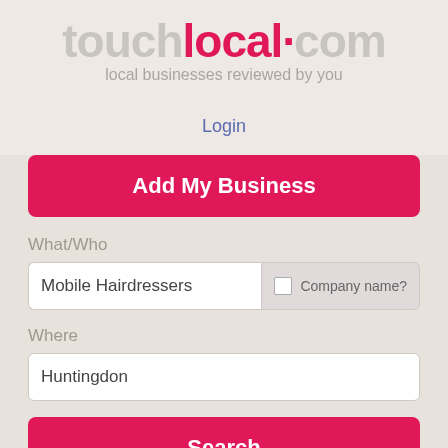[Figure (logo): touchlocal.com logo with tagline 'local businesses reviewed by you']
Login
Add My Business
What/Who
Mobile Hairdressers
Company name?
Where
Huntingdon
Search
Hair By Hayley